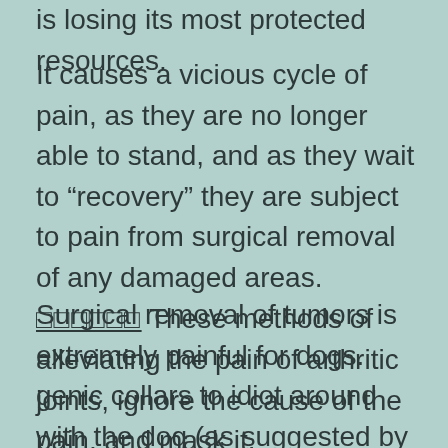is losing its most protected resources.
It causes a vicious cycle of pain, as they are no longer able to stand, and as they wait to “recovery” they are subject to pain from surgical removal of any damaged areas. □□□□□□ These methods of alleviating the pain of arthritic joints, ignore the cause of the pain, and mask it.
Surgical removal of tumors is extremely painful for dogs. genic collars to idiot around with the dog (as suggested by some behaviorist) and most commonly used on dogs that are essentially unknowingly aggressive, against